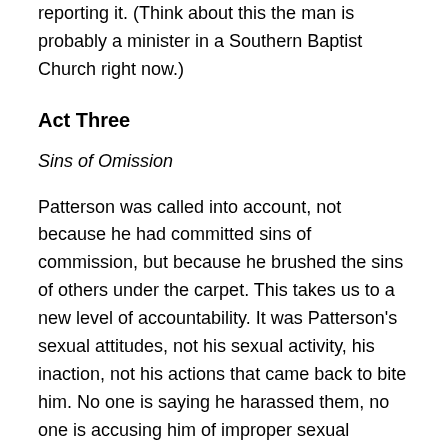reporting it. (Think about this the man is probably a minister in a Southern Baptist Church right now.)
Act Three
Sins of Omission
Patterson was called into account, not because he had committed sins of commission, but because he brushed the sins of others under the carpet. This takes us to a new level of accountability. It was Patterson's sexual attitudes, not his sexual activity, his inaction, not his actions that came back to bite him. No one is saying he harassed them, no one is accusing him of improper sexual relationships. His “good old boy” attitude concerning sexual roles and behavior was the impetus that sparked his vocation implosion. If men act improperly, well, that is to be expected, because “boys will be boys.” Women are